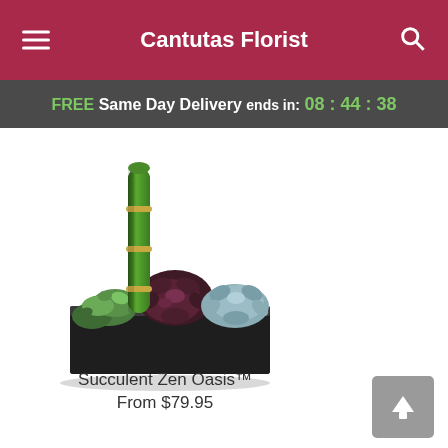Cantutas Florist
FREE Same Day Delivery ends in: 08 : 44 : 38
[Figure (photo): Product photo of Succulent Zen Oasis arrangement: multiple succulents in a black rectangular planter with a bamboo stalk]
Succulent Zen Oasis™
From $79.95